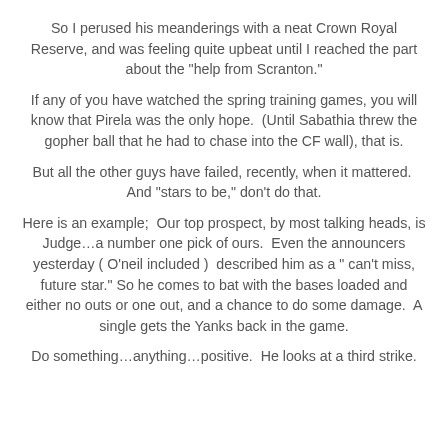So I perused his meanderings with a neat Crown Royal Reserve, and was feeling quite upbeat until I reached the part about the "help from Scranton."
If any of you have watched the spring training games, you will know that Pirela was the only hope.  (Until Sabathia threw the gopher ball that he had to chase into the CF wall), that is.
But all the other guys have failed, recently, when it mattered.  And "stars to be," don't do that.
Here is an example;  Our top prospect, by most talking heads, is Judge…a number one pick of ours.  Even the announcers yesterday ( O'neil included )  described him as a " can't miss, future star." So he comes to bat with the bases loaded and either no outs or one out, and a chance to do some damage.  A single gets the Yanks back in the game.
Do something…anything…positive.  He looks at a third strike.